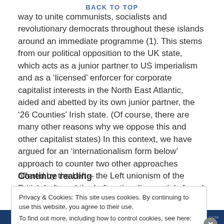BACK TO TOP
way to unite communists, socialists and revolutionary democrats throughout these islands around an immediate programme (1). This stems from our political opposition to the UK state, which acts as a junior partner to US imperialism and as a ‘licensed’ enforcer for corporate capitalist interests in the North East Atlantic, aided and abetted by its own junior partner, the ‘26 Counties’ Irish state. (Of course, there are many other reasons why we oppose this and other capitalist states) In this context, we have argued for an ‘internationalism form below’ approach to counter two other approaches offered by the Left – the Left unionism of the British Left, and the Left nationalism mainly found in Scotland, Wales and Ireland.
Continue reading
Privacy & Cookies: This site uses cookies. By continuing to use this website, you agree to their use.
To find out more, including how to control cookies, see here: Cookie Policy
Close and accept